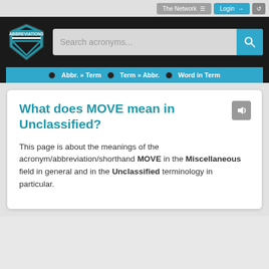The Network ≡   Login →   ↺
[Figure (screenshot): Abbreviations.com logo — shield shape with ABBREVIATIONS text, blue and black colors]
Search acronyms...
Abbr. » Term   Term » Abbr.   Word in Term
What does MOVE mean in Unclassified?
This page is about the meanings of the acronym/abbreviation/shorthand MOVE in the Miscellaneous field in general and in the Unclassified terminology in particular.